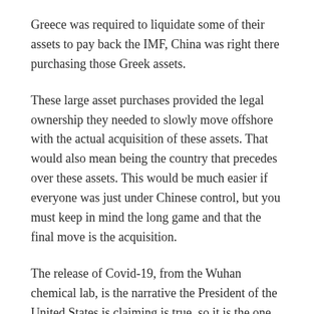Greece was required to liquidate some of their assets to pay back the IMF, China was right there purchasing those Greek assets.
These large asset purchases provided the legal ownership they needed to slowly move offshore with the actual acquisition of these assets. That would also mean being the country that precedes over these assets. This would be much easier if everyone was just under Chinese control, but you must keep in mind the long game and that the final move is the acquisition.
The release of Covid-19, from the Wuhan chemical lab, is the narrative the President of the United States is claiming is true, so it is the one that will be used. We all understand what has happened since the outbreak but what if the outbreak was not accidental. What if the Chinese Government released this agent, knowing that their surveillance state and indoctrination tactics would allow swift control of the virus, while the rest of the world would be brought to its knees. This makes absolute